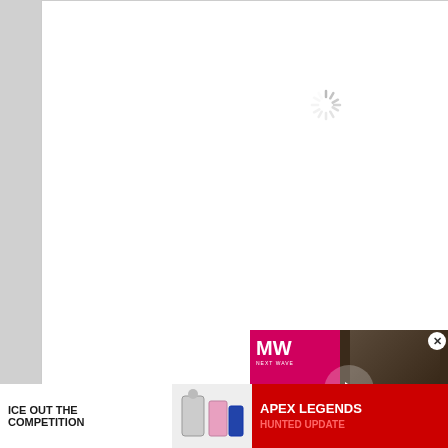[Figure (screenshot): White card area with a loading spinner (gray radial lines) in the upper portion]
Controls for Dungeons & Dragons: Dark Alliance
[Figure (screenshot): Second white card area with a loading spinner at the bottom]
[Figure (screenshot): Video overlay panel showing MW (Next Wave) branding and a game character (Apex Legends) with a play button]
[Figure (screenshot): Advertisement banner: left side shows 'ICE OUT THE COMPETITION' with products; right side shows 'APEX LEGENDS HUNTED UPDATE' on red background]
[Figure (screenshot): Scroll-to-top button (chevron up arrow) on the right side]